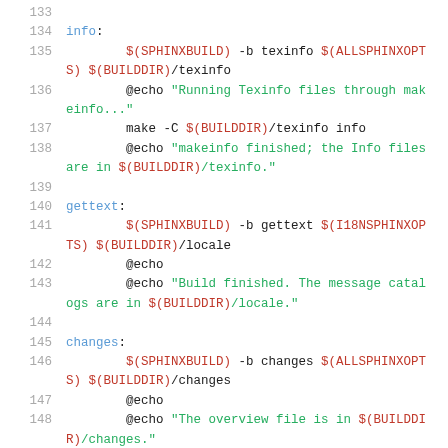[Figure (screenshot): Code listing lines 134-148 of a Makefile showing info, gettext, and changes targets with syntax highlighting. Line numbers in gray, target names in blue, $(VARIABLE) references in red, string literals in green, and regular commands in dark gray.]